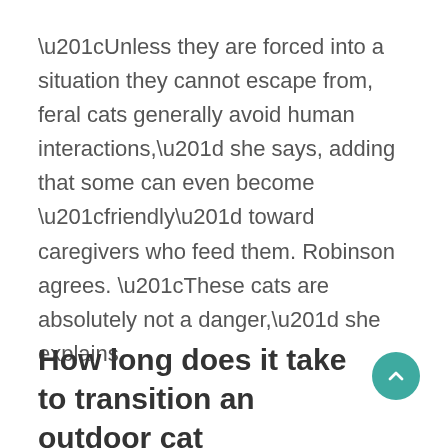“Unless they are forced into a situation they cannot escape from, feral cats generally avoid human interactions,” she says, adding that some can even become “friendly” toward caregivers who feed them. Robinson agrees. “These cats are absolutely not a danger,” she explains.
How long does it take to transition an outdoor cat